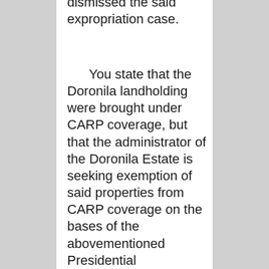dismissed the said expropriation case.
You state that the Doronila landholding were brought under CARP coverage, but that the administrator of the Doronila Estate is seeking exemption of said properties from CARP coverage on the bases of the abovementioned Presidential Proclamations and Letter of Instructions. You now pose the following queries for your guidance in